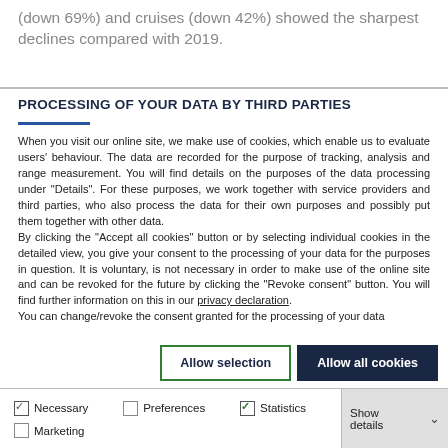(down 69%) and cruises (down 42%) showed the sharpest declines compared with 2019.
PROCESSING OF YOUR DATA BY THIRD PARTIES
When you visit our online site, we make use of cookies, which enable us to evaluate users' behaviour. The data are recorded for the purpose of tracking, analysis and range measurement. You will find details on the purposes of the data processing under "Details". For these purposes, we work together with service providers and third parties, who also process the data for their own purposes and possibly put them together with other data.
By clicking the "Accept all cookies" button or by selecting individual cookies in the detailed view, you give your consent to the processing of your data for the purposes in question. It is voluntary, is not necessary in order to make use of the online site and can be revoked for the future by clicking the "Revoke consent" button. You will find further information on this in our privacy declaration.
You can change/revoke the consent granted for the processing of your data
Allow selection
Allow all cookies
Necessary   Preferences   Statistics   Marketing   Show details